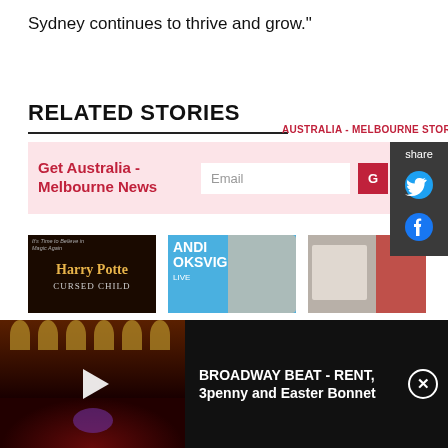Sydney continues to thrive and grow."
RELATED STORIES
AUSTRALIA - MELBOURNE STORIES
Get Australia - Melbourne News
[Figure (screenshot): Newsletter signup box with email input field and subscribe button]
[Figure (screenshot): Share sidebar with Twitter and Facebook icons]
[Figure (photo): Harry Potter and the Cursed Child promotional image]
Melbourne Joins In Worldwide Celebrations of
[Figure (photo): Sandi Toksvig promotional image - ANDI OKSVIG LIVE]
Sandi Toksvig Will Embark on 2022 Australian Tour
[Figure (photo): RMIT Culture Children's exhibition photo]
RMIT Culture Opens The Children's
[Figure (screenshot): Video player - Broadway Beat RENT, 3penny and Easter Bonnet]
BROADWAY BEAT - RENT, 3penny and Easter Bonnet